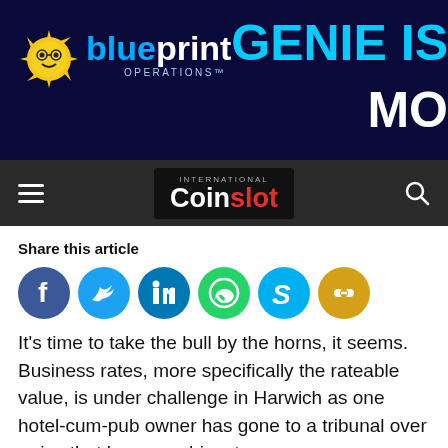[Figure (logo): Blueprint Operations logo with sun icon on dark navy background, and 'GENIE IS MO' text on the right side in cyan and white]
[Figure (logo): International Coinslot logo on dark navigation bar with hamburger menu and search icon]
Share this article
[Figure (infographic): Social share buttons: Facebook (blue), Twitter (light blue), LinkedIn (blue), WhatsApp (green), Skype (cyan), Link (yellow/gold)]
It's time to take the bull by the horns, it seems. Business rates, more specifically the rateable value, is under challenge in Harwich as one hotel-cum-pub owner has gone to a tribunal over a rise that has seen him stump up